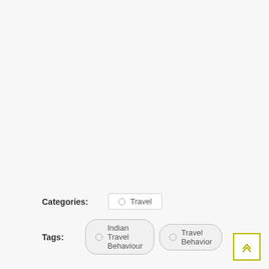Categories: Travel
Tags: Indian Travel Behaviour  Travel Behavior